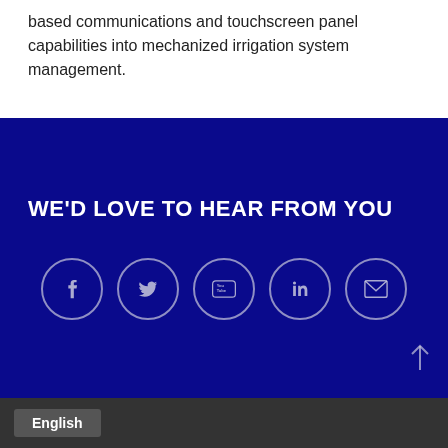based communications and touchscreen panel capabilities into mechanized irrigation system management.
WE'D LOVE TO HEAR FROM YOU
[Figure (infographic): Five social media icon circles in a row: Facebook (f), Twitter (bird), YouTube (You Tube logo), LinkedIn (in), Email (envelope). All outlined circles on dark blue background.]
English